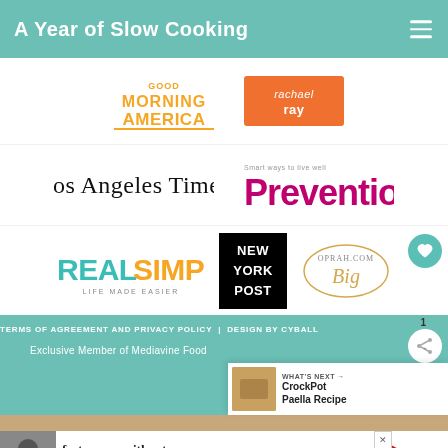A Year of Slow Cooking
[Figure (logo): Good Morning America logo (yellow/gold text) and Rachael Ray logo (orange background)]
[Figure (logo): Los Angeles Times logo (serif black text) and Prevention magazine logo (magenta/purple text)]
[Figure (logo): Real Simple logo (teal/orange text), New York Post logo (black bold text), Oprah.com logo (gold script)]
TERMS OF AGREEMENT AND PRIVACY POLICY  |  DESIGN BY CYBALL
Exclusive Member of Mediavine Food
WHAT'S NEXT → CrockPot Paella Recipe
[Figure (photo): Advertisement: foster care without a permanent family. Dave Thomas Foundation for Adoption logo.]